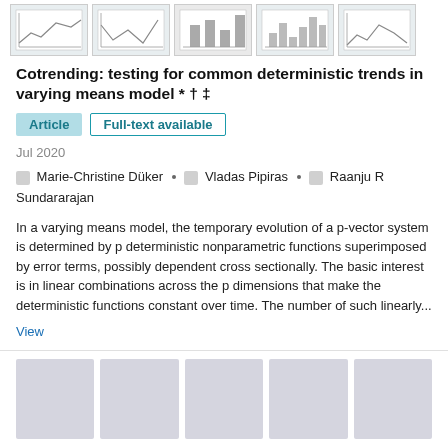[Figure (other): Row of five small thumbnail chart images from the article]
Cotrending: testing for common deterministic trends in varying means model * † ‡
Article
Full-text available
Jul 2020
Marie-Christine Düker · Vladas Pipiras · Raanju R Sundararajan
In a varying means model, the temporary evolution of a p-vector system is determined by p deterministic nonparametric functions superimposed by error terms, possibly dependent cross sectionally. The basic interest is in linear combinations across the p dimensions that make the deterministic functions constant over time. The number of such linearly...
View
[Figure (other): Row of five grey placeholder thumbnail images for the second article]
The euro impact on trade. Long run evidence with structural breaks